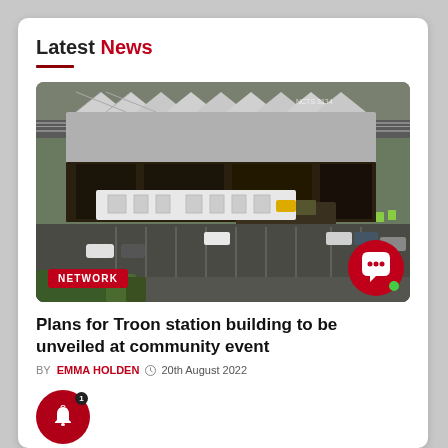Latest News
[Figure (photo): Aerial photograph of Troon railway station building showing fire damage and scaffolding, with cars in a parking lot below.]
Plans for Troon station building to be unveiled at community event
BY EMMA HOLDEN  20th August 2022